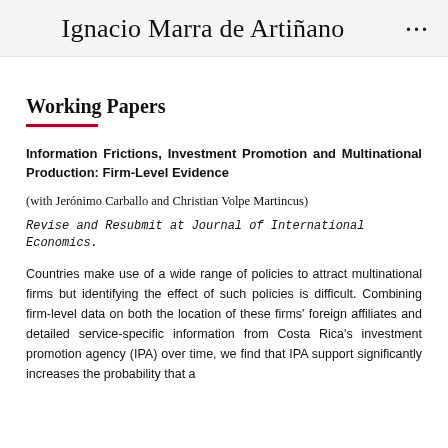Ignacio Marra de Artiñano ···
Working Papers
Information Frictions, Investment Promotion and Multinational Production: Firm-Level Evidence
(with Jerónimo Carballo and Christian Volpe Martincus)
Revise and Resubmit at Journal of International Economics.
Countries make use of a wide range of policies to attract multinational firms but identifying the effect of such policies is difficult. Combining firm-level data on both the location of these firms' foreign affiliates and detailed service-specific information from Costa Rica's investment promotion agency (IPA) over time, we find that IPA support significantly increases the probability that a